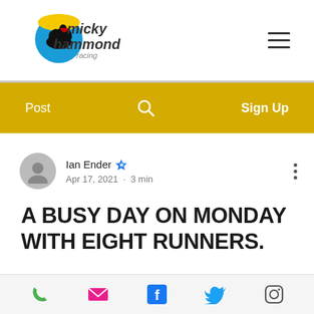[Figure (logo): Micky Hammond Racing logo with horse and rider silhouette on a blue/yellow circle]
Post  🔍  Sign Up
Ian Ender  Apr 17, 2021 · 3 min
A BUSY DAY ON MONDAY WITH EIGHT RUNNERS.
We send five to Hexham over the jumps, where the going is currently good, and they are watering to